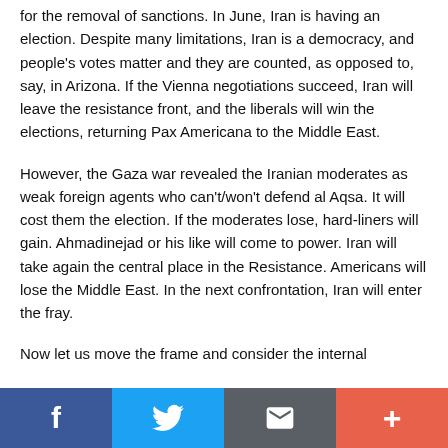for the removal of sanctions. In June, Iran is having an election. Despite many limitations, Iran is a democracy, and people's votes matter and they are counted, as opposed to, say, in Arizona. If the Vienna negotiations succeed, Iran will leave the resistance front, and the liberals will win the elections, returning Pax Americana to the Middle East.
However, the Gaza war revealed the Iranian moderates as weak foreign agents who can't/won't defend al Aqsa. It will cost them the election. If the moderates lose, hard-liners will gain. Ahmadinejad or his like will come to power. Iran will take again the central place in the Resistance. Americans will lose the Middle East. In the next confrontation, Iran will enter the fray.
Now let us move the frame and consider the internal
[Figure (infographic): Social sharing bar with four buttons: Facebook (blue, f icon), Twitter (light blue, bird icon), Email/Share (dark grey, envelope icon), More (orange-red, plus icon)]